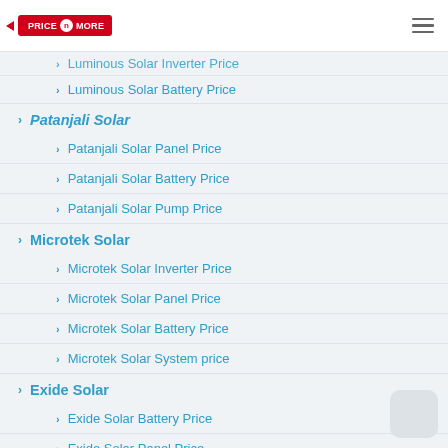PriceNMore logo and navigation menu
Luminous Solar Inverter Price
Luminous Solar Battery Price
Patanjali Solar
Patanjali Solar Panel Price
Patanjali Solar Battery Price
Patanjali Solar Pump Price
Microtek Solar
Microtek Solar Inverter Price
Microtek Solar Panel Price
Microtek Solar Battery Price
Microtek Solar System price
Exide Solar
Exide Solar Battery Price
Exide Solar Panel Price
Exide Solar Inverter price
Sukam Solar